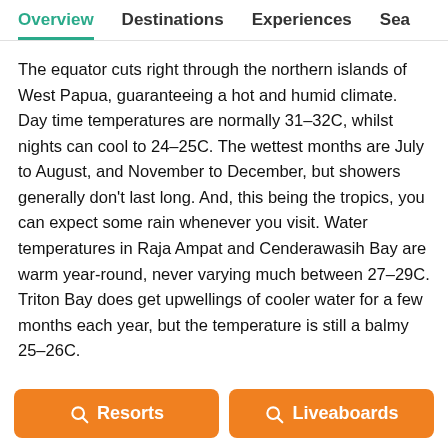Overview   Destinations   Experiences   Sea
The equator cuts right through the northern islands of West Papua, guaranteeing a hot and humid climate. Day time temperatures are normally 31–32C, whilst nights can cool to 24–25C. The wettest months are July to August, and November to December, but showers generally don't last long. And, this being the tropics, you can expect some rain whenever you visit. Water temperatures in Raja Ampat and Cenderawasih Bay are warm year-round, never varying much between 27–29C. Triton Bay does get upwellings of cooler water for a few months each year, but the temperature is still a balmy 25–26C.
Resorts
Liveaboards